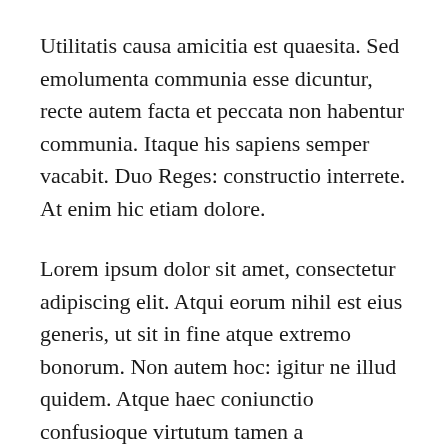Utilitatis causa amicitia est quaesita. Sed emolumenta communia esse dicuntur, recte autem facta et peccata non habentur communia. Itaque his sapiens semper vacabit. Duo Reges: constructio interrete. At enim hic etiam dolore.
Lorem ipsum dolor sit amet, consectetur adipiscing elit. Atqui eorum nihil est eius generis, ut sit in fine atque extremo bonorum. Non autem hoc: igitur ne illud quidem. Atque haec coniunctio confusioque virtutum tamen a philosophis ratione quadam distinguitur. Utilitatis causa amicitia est quaesita. Sed emolumenta communia esse dicuntur, recte autem facta et peccata non habentur